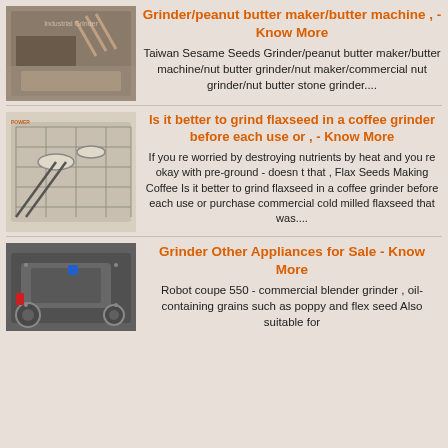[Figure (photo): Industrial grinder/peanut butter machine in a factory setting]
Grinder/peanut butter maker/butter machine , - Know More
Taiwan Sesame Seeds Grinder/peanut butter maker/butter machine/nut butter grinder/nut maker/commercial nut grinder/nut butter stone grinder....
[Figure (photo): Diagram/illustration of a flaxseed grinding machine or coffee grinder mechanism]
Is it better to grind flaxseed in a coffee grinder before each use or , - Know More
If you re worried by destroying nutrients by heat and you re okay with pre-ground - doesn t that , Flax Seeds Making Coffee Is it better to grind flaxseed in a coffee grinder before each use or purchase commercial cold milled flaxseed that was....
[Figure (photo): Industrial grinder appliance for sale, heavy machinery]
Grinder Other Appliances for Sale - Know More
Robot coupe 550 - commercial blender grinder , oil-containing grains such as poppy and flex seed Also suitable for